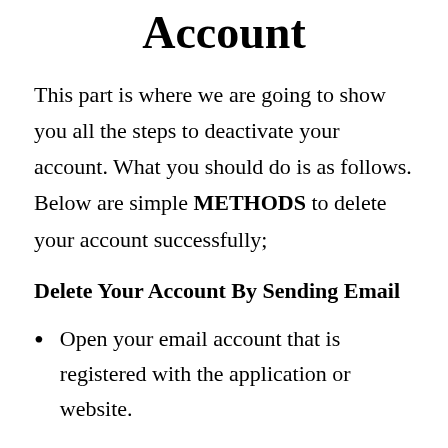Account
This part is where we are going to show you all the steps to deactivate your account. What you should do is as follows. Below are simple METHODS to delete your account successfully;
Delete Your Account By Sending Email
Open your email account that is registered with the application or website.